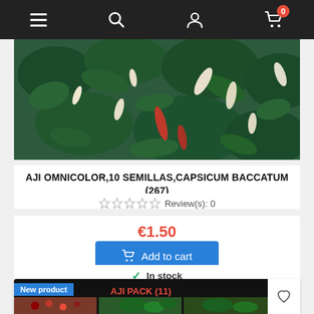Navigation bar with menu, search, account, and cart icons
[Figure (photo): Close-up photo of Aji Omnicolor pepper plant with green leaves and colorful peppers including white, cream, and red peppers]
AJI OMNICOLOR,10 SEMILLAS,CAPSICUM BACCATUM (267)
Review(s): 0
€1.50
Add to cart
In stock
[Figure (photo): Partial view of second product card labeled AJI PACK (11) showing collage of pepper plant photos with New product badge]